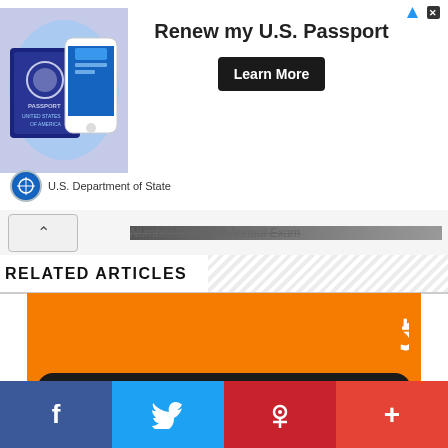[Figure (screenshot): US Department of State advertisement banner: passport and phone image on left, 'Renew my U.S. Passport' headline with 'Learn More' button, State Department seal and text at bottom left]
Number Slip 2022 Annual Exam
RELATED ARTICLES
[Figure (photo): Orange banner image for Gujranwala Board with Urdu text at top, 'TOP POSITIONS' in large white text on black rounded rectangle, 'DOWNLOAD' button in white text on black rounded rectangle, PAK badge at bottom right]
Bise Gujranwala 9th Class Top Position Holders
[Figure (screenshot): Social media share bar with Facebook (blue), Twitter (light blue), Pinterest (red), and More (+) buttons at the bottom of the page]